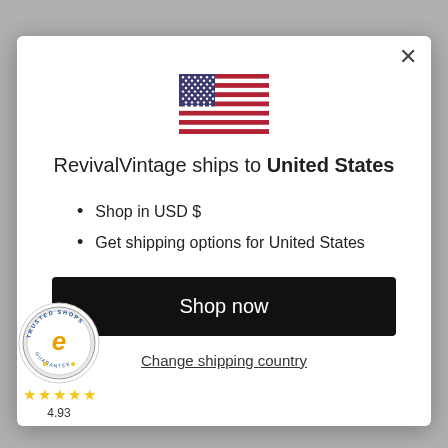[Figure (illustration): US flag SVG illustration inside modal dialog]
RevivalVintage ships to United States
Shop in USD $
Get shipping options for United States
Shop now
Change shipping country
[Figure (logo): Trusted Shops guarantee badge with e logo, 4.93 star rating]